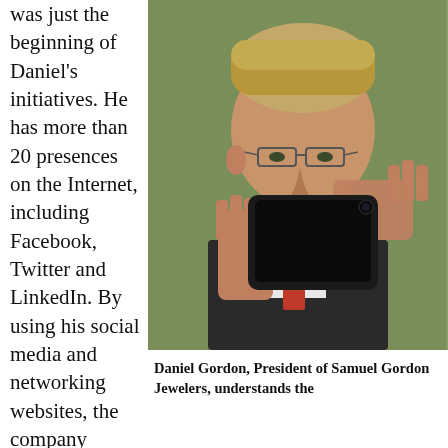was just the beginning of Daniel's initiatives. He has more than 20 presences on the Internet, including Facebook, Twitter and LinkedIn. By using his social media and networking websites, the company communicate
[Figure (photo): A man in a dark pinstripe suit and red tie holding up a black smartphone (iPhone) close to the camera, smiling, with glasses, photographed against a green background.]
Daniel Gordon, President of Samuel Gordon Jewelers, understands the